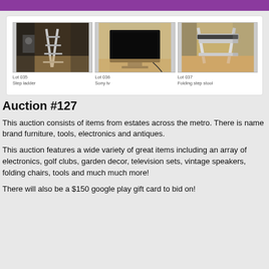[Figure (photo): Photo of a step ladder in a cluttered room]
Lot 035
Step ladder
[Figure (photo): Photo of a Sony TV on a surface]
Lot 036
Sony tv
[Figure (photo): Photo of a folding step stool]
Lot 037
Folding step stool
Auction #127
This auction consists of items from estates across the metro. There is name brand furniture, tools, electronics and antiques.
This auction features a wide variety of great items including an array of electronics, golf clubs, garden decor, television sets, vintage speakers, folding chairs, tools and much much more!
There will also be a $150 google play gift card to bid on!